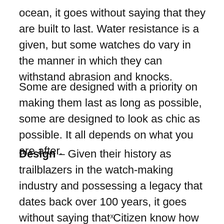ocean, it goes without saying that they are built to last. Water resistance is a given, but some watches do vary in the manner in which they can withstand abrasion and knocks.
Some are designed with a priority on making them last as long as possible, some are designed to look as chic as possible. It all depends on what you are after.
Design – Given their history as trailblazers in the watch-making industry and possessing a legacy that dates back over 100 years, it goes without saying that Citizen know how to make a classy looking watch. That said, there is still great variety
x